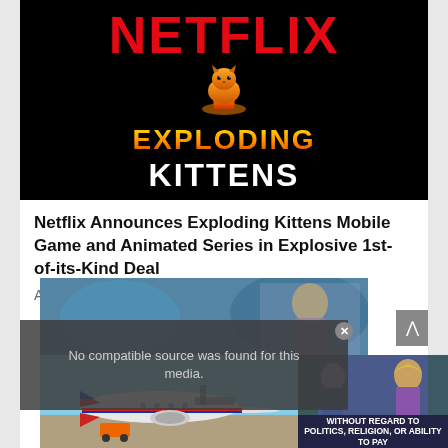[Figure (logo): Netflix Exploding Kittens promotional image on black background. Large red NETFLIX text at top, orange cartoon cat icon in middle, gradient orange-yellow EXPLODING text, white KITTENS text at bottom.]
Netflix Announces Exploding Kittens Mobile Game and Animated Series in Explosive 1st-of-its-Kind Deal
April 18, 2022
[Figure (screenshot): Video player showing 'No compatible source was found for this media.' error message overlaid on a fantasy game scene with characters. Below is an image of an airplane being loaded and a dark banner reading 'WITHOUT REGARD TO POLITICS, RELIGION, OR ABILITY TO PAY'.]